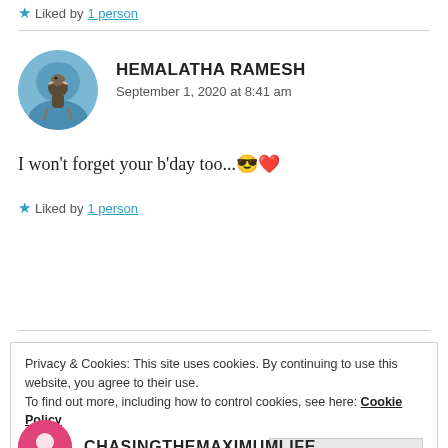★ Liked by 1 person
HEMALATHA RAMESH
September 1, 2020 at 8:41 am
[Figure (photo): Circular avatar photo showing a person/bird against a blue sky background]
I won't forget your b'day too...😎❤
★ Liked by 1 person
Privacy & Cookies: This site uses cookies. By continuing to use this website, you agree to their use.
To find out more, including how to control cookies, see here: Cookie Policy
Close and accept
CHASINGTHEMAXIMUMLIFE